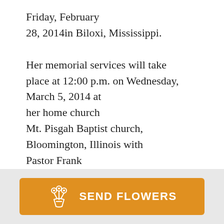Friday, February 28, 2014in Biloxi, Mississippi. Her memorial services will take place at 12:00 p.m. on Wednesday, March 5, 2014 at her home church Mt. Pisgah Baptist church, Bloomington, Illinois with Pastor Frank L. McSwain, Sr. officiating.  Visitation will be from 10-12 p.m. on Wednesday at the church.
[Figure (other): Orange 'Send Flowers' button with a flower bouquet icon]